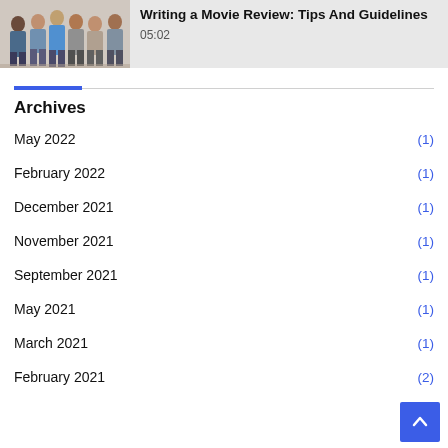[Figure (photo): Thumbnail image of a group of people standing together, with a video title overlay]
Writing a Movie Review: Tips And Guidelines
05:02
Archives
May 2022 (1)
February 2022 (1)
December 2021 (1)
November 2021 (1)
September 2021 (1)
May 2021 (1)
March 2021 (1)
February 2021 (2)